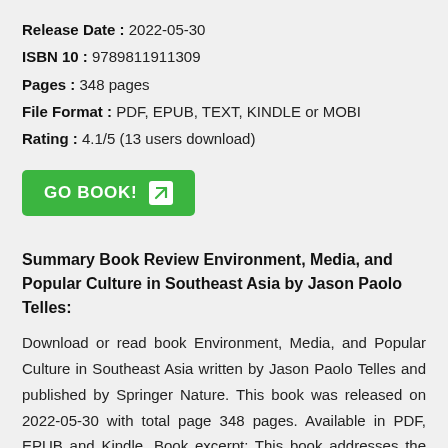Release Date : 2022-05-30
ISBN 10 : 9789811911309
Pages : 348 pages
File Format : PDF, EPUB, TEXT, KINDLE or MOBI
Rating : 4.1/5 (13 users download)
[Figure (other): Green GO BOOK! button with arrow icon]
Summary Book Review Environment, Media, and Popular Culture in Southeast Asia by Jason Paolo Telles:
Download or read book Environment, Media, and Popular Culture in Southeast Asia written by Jason Paolo Telles and published by Springer Nature. This book was released on 2022-05-30 with total page 348 pages. Available in PDF, EPUB and Kindle. Book excerpt: This book addresses the increasingly